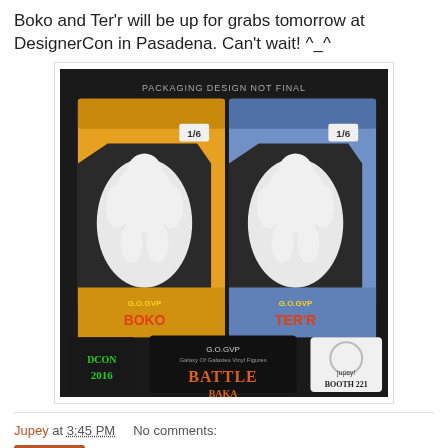Boko and Ter'r will be up for grabs tomorrow at DesignerCon in Pasadena. Can't wait! ^_^
[Figure (photo): Photo of two toy figure boxes labeled G.O.GVP BOKO and G.O.GVP TER'R, white unpainted vinyl figures in orange and blue packaging respectively, with logos for DCON 2016, G.O.GVP Battle Baka, and Jupey! Booth 221 at the bottom.]
Jupey at 3:45 PM    No comments:
Share